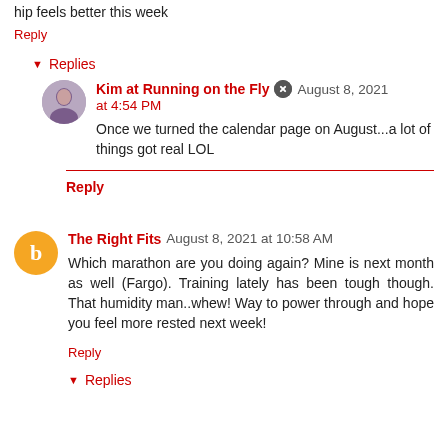hip feels better this week
Reply
Replies
Kim at Running on the Fly  August 8, 2021 at 4:54 PM
Once we turned the calendar page on August...a lot of things got real LOL
Reply
The Right Fits  August 8, 2021 at 10:58 AM
Which marathon are you doing again? Mine is next month as well (Fargo). Training lately has been tough though. That humidity man..whew! Way to power through and hope you feel more rested next week!
Reply
Replies